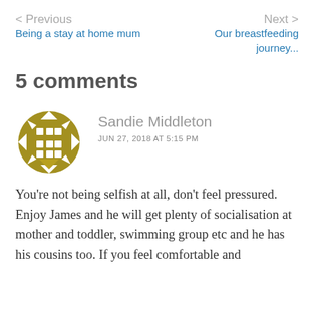< Previous
Being a stay at home mum
Next >
Our breastfeeding journey...
5 comments
[Figure (illustration): Golden/olive colored decorative circular avatar icon with a grid/lattice pattern]
Sandie Middleton
JUN 27, 2018 AT 5:15 PM
You're not being selfish at all, don't feel pressured. Enjoy James and he will get plenty of socialisation at mother and toddler, swimming group etc and he has his cousins too. If you feel comfortable and...